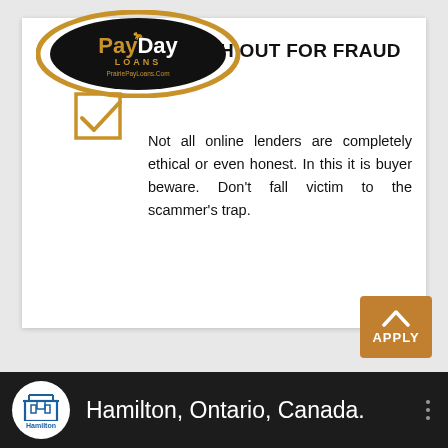[Figure (logo): PayDay Loans logo: gold oval border with inner black oval containing 'PayDay' in gold/white text, 'LOANS' below, and 'PrairiePayLoans.Com' URL. Below logo is a gold checkbox icon.]
WATCH OUT FOR FRAUD
Not all online lenders are completely ethical or even honest. In this it is buyer beware. Don’t fall victim to the scammer’s trap.
[Figure (screenshot): Golden/amber APPLY button with upward chevron arrow in top portion and 'APPLY' text below, positioned bottom-right of page.]
[Figure (screenshot): Dark bottom bar with Hamilton, Ontario city logo (white circle with blue castle/building icon and 'Hamilton' text) and 'Hamilton, Ontario, Canada.' text in white, with three-dot menu on right.]